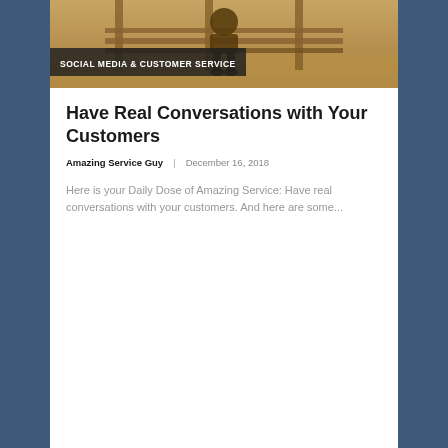[Figure (photo): Sepia-toned photo of a person sitting on a wooden bench outdoors, viewed from behind. Wooden slats of the bench are visible.]
SOCIAL MEDIA & CUSTOMER SERVICE
Have Real Conversations with Your Customers
Amazing Service Guy   December 16, 2018
Here is your Daily Dose of Amazing Service: Have real conversations with your customers. And here are some...